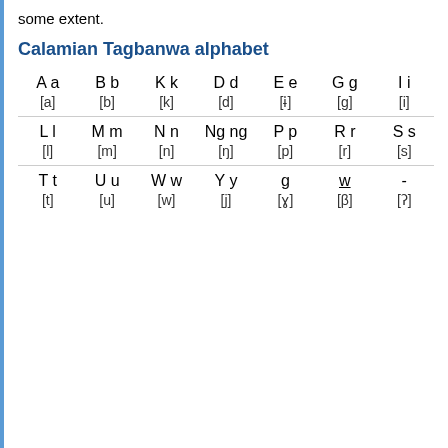some extent.
Calamian Tagbanwa alphabet
| A a | B b | K k | D d | E e | G g | I i |
| --- | --- | --- | --- | --- | --- | --- |
| [a] | [b] | [k] | [d] | [ɨ] | [g] | [i] |
| L l | M m | N n | Ng ng | P p | R r | S s |
| [l] | [m] | [n] | [ŋ] | [p] | [r] | [s] |
| T t | U u | W w | Y y | g̲ | w̲ | - |
| [t] | [u] | [w] | [j] | [ɣ] | [β] | [ʔ] |